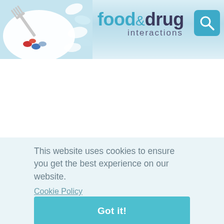[Figure (illustration): Food and Drug Interactions website header banner with a plate and fork with colorful pills on the left, the site logo text in the center, and pills/tablets on the right with a teal search icon button]
This website uses cookies to ensure you get the best experience on our website.
Cookie Policy
Got it!